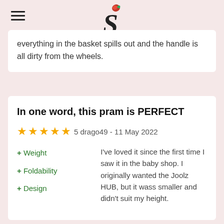S (logo)
everything in the basket spills out and the handle is all dirty from the wheels.
In one word, this pram is PERFECT
★★★★★ 5 drago49 - 11 May 2022
+ Weight
+ Foldability
+ Design
I've loved it since the first time I saw it in the baby shop. I originally wanted the Joolz HUB, but it wass smaller and didn't suit my height.